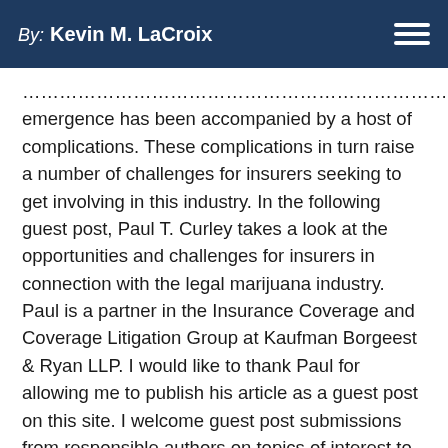By: Kevin M. LaCroix
emergence has been accompanied by a host of complications. These complications in turn raise a number of challenges for insurers seeking to get involving in this industry. In the following guest post, Paul T. Curley takes a look at the opportunities and challenges for insurers in connection with the legal marijuana industry. Paul is a partner in the Insurance Coverage and Coverage Litigation Group at Kaufman Borgeest & Ryan LLP. I would like to thank Paul for allowing me to publish his article as a guest post on this site. I welcome guest post submissions from responsible authors on topics of interest to this blog's readers. Please contact me directly if you would like to submit a guest post. Here is Paul's article.